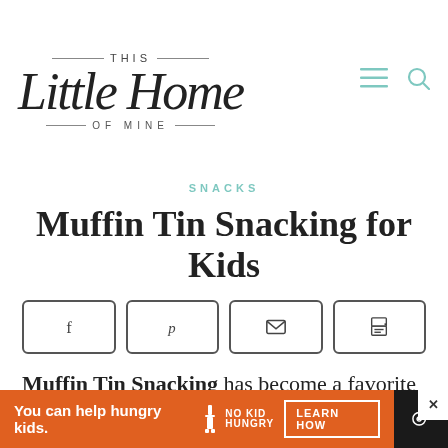[Figure (logo): This Little Home of Mine blog logo with decorative script lettering]
SNACKS
Muffin Tin Snacking for Kids
[Figure (infographic): Social share buttons: Facebook, Pinterest, Email, Print]
Muffin Tin Snacking has become a favorite in our house – for me as a mom and for my kids!
[Figure (infographic): Advertisement banner: You can help hungry kids. No Kid Hungry. Learn How.]